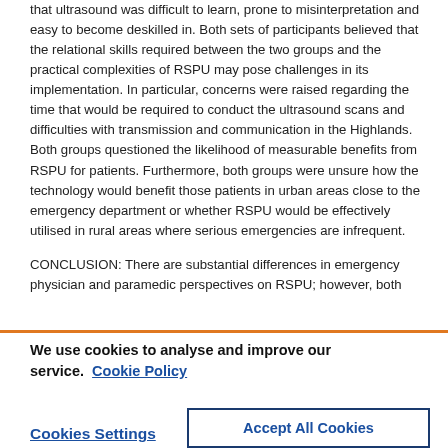that ultrasound was difficult to learn, prone to misinterpretation and easy to become deskilled in. Both sets of participants believed that the relational skills required between the two groups and the practical complexities of RSPU may pose challenges in its implementation. In particular, concerns were raised regarding the time that would be required to conduct the ultrasound scans and difficulties with transmission and communication in the Highlands. Both groups questioned the likelihood of measurable benefits from RSPU for patients. Furthermore, both groups were unsure how the technology would benefit those patients in urban areas close to the emergency department or whether RSPU would be effectively utilised in rural areas where serious emergencies are infrequent.
CONCLUSION: There are substantial differences in emergency physician and paramedic perspectives on RSPU; however, both
We use cookies to analyse and improve our service. Cookie Policy
Cookies Settings
Accept All Cookies